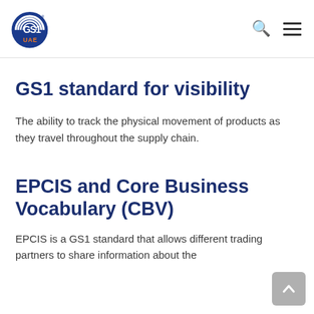GS1 UAE
GS1 standard for visibility
The ability to track the physical movement of products as they travel throughout the supply chain.
EPCIS and Core Business Vocabulary (CBV)
EPCIS is a GS1 standard that allows different trading partners to share information about the